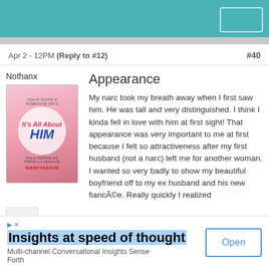Apr 2 - 12PM (Reply to #12)  #40
Nothanx
[Figure (illustration): Book cover illustration for 'It's All About HIM' related to Narcissism]
Appearance
My narc took my breath away when I first saw him. He was tall and very distinguished. I think I kinda fell in love with him at first sight! That appearance was very important to me at first because I felt so attractiveness after my first husband (not a narc) left me for another woman. I wanted so very badly to show my beautiful boyfriend off to my ex husband and his new fiancée. Really quickly I realized
[Figure (infographic): Advertisement banner: Insights at speed of thought - Multi-channel Conversational Insights Sense Forth - with Open button]